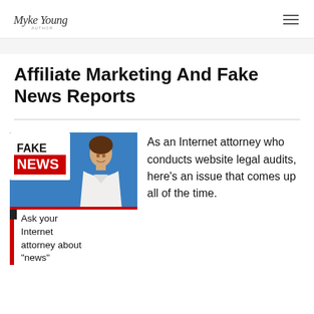Myke Young — logo and navigation
Affiliate Marketing And Fake News Reports
[Figure (photo): A female news anchor in a white blazer in front of a blue studio background, with a screen showing FAKE NEWS text (FAKE in white on black, NEWS in red).]
Ask your Internet attorney about "news"
As an Internet attorney who conducts website legal audits, here's an issue that comes up all of the time.